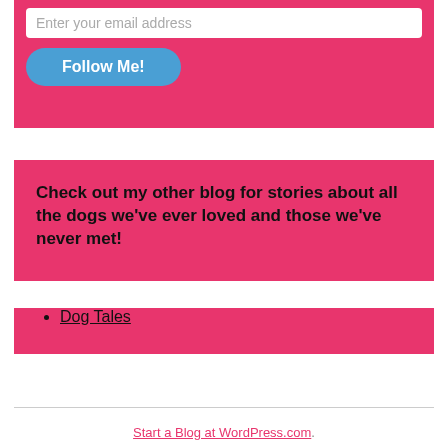[Figure (screenshot): Pink background widget box with email input field showing placeholder 'Enter your email address']
[Figure (screenshot): Blue rounded 'Follow Me!' button on pink background]
Check out my other blog for stories about all the dogs we've ever loved and those we've never met!
Dog Tales
Start a Blog at WordPress.com.